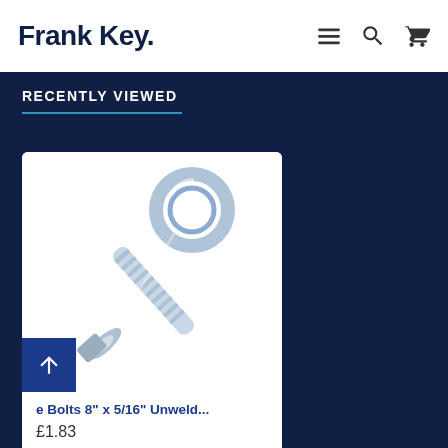Frank Key.
RECENTLY VIEWED
[Figure (photo): Eye bolt product photo: a zinc-plated steel eye bolt 8 inches x 5/16 inch, unwelded, shown diagonally with a ring eye at top and threaded shank with washer and nut at bottom.]
e Bolts 8" x 5/16" Unweld...
£1.83
Add to Basket